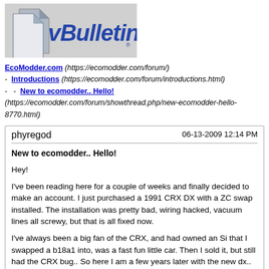[Figure (logo): vBulletin logo — grey background with stylized page icon and blue italic vBulletin text]
EcoModder.com (https://ecomodder.com/forum/)
- Introductions (https://ecomodder.com/forum/introductions.html)
- - New to ecomodder.. Hello!
(https://ecomodder.com/forum/showthread.php/new-ecomodder-hello-8770.html)
phyregod
06-13-2009 12:14 PM
New to ecomodder.. Hello!
Hey!
I've been reading here for a couple of weeks and finally decided to make an account. I just purchased a 1991 CRX DX with a ZC swap installed. The installation was pretty bad, wiring hacked, vacuum lines all screwy, but that is all fixed now.
I've always been a big fan of the CRX, and had owned an Si that I swapped a b18a1 into, was a fast fun little car. Then I sold it, but still had the CRX bug.. So here I am a few years later with the new dx.. Beautiful rust free body with zero interior in it. Stripped to the bone.
I'm still working from an account standpoint, with it, and a question from I